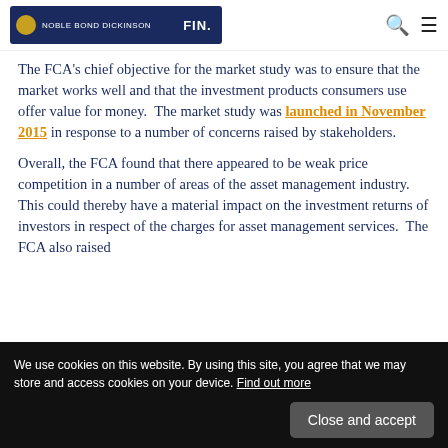NOBLE BOND DICKINSON | FIN.
The FCA's chief objective for the market study was to ensure that the market works well and that the investment products consumers use offer value for money. The market study was launched in November 2015 in response to a number of concerns raised by stakeholders.
Overall, the FCA found that there appeared to be weak price competition in a number of areas of the asset management industry. This could thereby have a material impact on the investment returns of investors in respect of the charges for asset management services. The FCA also raised
We use cookies on this website. By using this site, you agree that we may store and access cookies on your device. Find out more
Consequently, the FCA has decided to consult